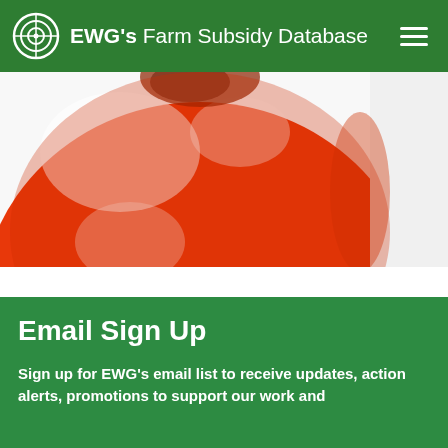EWG's Farm Subsidy Database
[Figure (photo): Close-up photo of a red tomato, brightly lit, with white highlight reflections on the skin]
Email Sign Up
Sign up for EWG's email list to receive updates, action alerts, promotions to support our work and